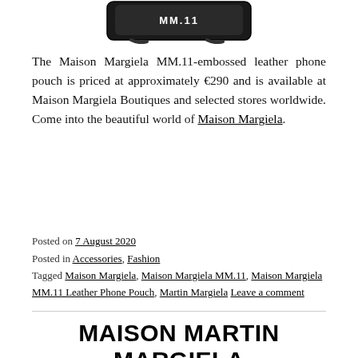[Figure (photo): Partial image of a Maison Margiela MM.11-embossed leather phone pouch at the top of the page]
The Maison Margiela MM.11-embossed leather phone pouch is priced at approximately €290 and is available at Maison Margiela Boutiques and selected stores worldwide. Come into the beautiful world of Maison Margiela.
Posted on 7 August 2020
Posted in Accessories, Fashion
Tagged Maison Margiela, Maison Margiela MM.11, Maison Margiela MM.11 Leather Phone Pouch, Martin Margiela Leave a comment
MAISON MARTIN MARGIELA LAUNCHES FOUR NEW